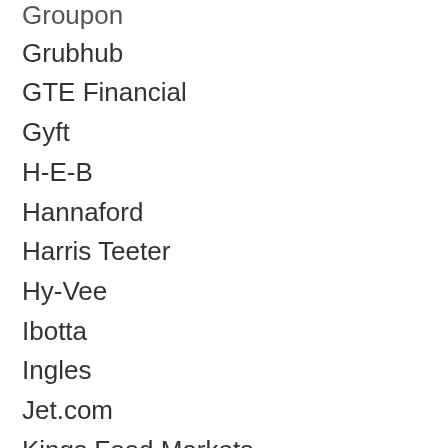Groupon
Grubhub
GTE Financial
Gyft
H-E-B
Hannaford
Harris Teeter
Hy-Vee
Ibotta
Ingles
Jet.com
Kings Food Markets
Kinney Drugs
Kroger
Kum & Go
Lidl
LivingSocial
Lowe's